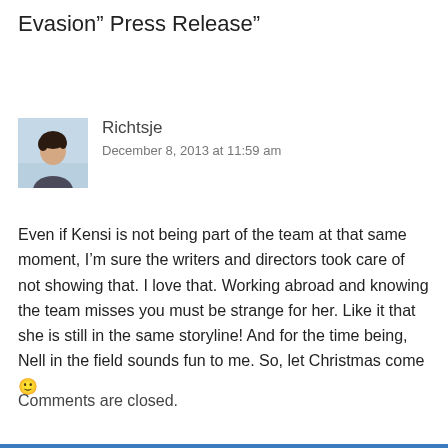Evasion” Press Release”
[Figure (photo): Small avatar photo of user Richtsje, showing a person with dark curly hair against a light blue background]
Richtsje
December 8, 2013 at 11:59 am
Even if Kensi is not being part of the team at that same moment, I’m sure the writers and directors took care of not showing that. I love that. Working abroad and knowing the team misses you must be strange for her. Like it that she is still in the same storyline! And for the time being, Nell in the field sounds fun to me. So, let Christmas come 🙂
Comments are closed.